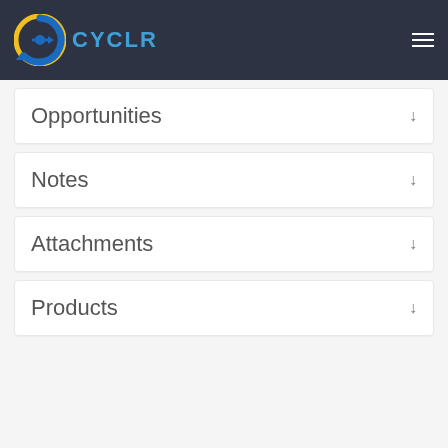[Figure (logo): CYCLR logo with circular arrow icon in blue and yellow on dark navy header background]
Opportunities
Notes
Attachments
Products